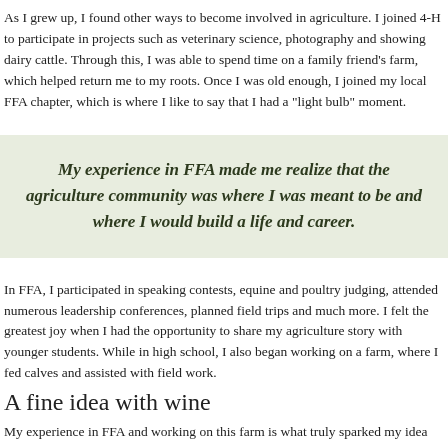As I grew up, I found other ways to become involved in agriculture. I joined 4-H to participate in projects such as veterinary science, photography and showing dairy cattle. Through this, I was able to spend time on a family friend's farm, which helped return me to my roots. Once I was old enough, I joined my local FFA chapter, which is where I like to say that I had a "light bulb" moment.
My experience in FFA made me realize that the agriculture community was where I was meant to be and where I would build a life and career.
In FFA, I participated in speaking contests, equine and poultry judging, attended numerous leadership conferences, planned field trips and much more. I felt the greatest joy when I had the opportunity to share my agriculture story with younger students. While in high school, I also began working on a farm, where I fed calves and assisted with field work.
A fine idea with wine
My experience in FFA and working on this farm is what truly sparked my idea for a future business. My goal is to produce wine ice cream from a small herd of cows using local Wisconsin wine. This business venture would allow me to stay true to my roots of involvement in the dairy industry, while also finding a unique way to stay afloat in this tough agricultural economy. I am hoping that my studies in college will provide me the necessary knowledge to be